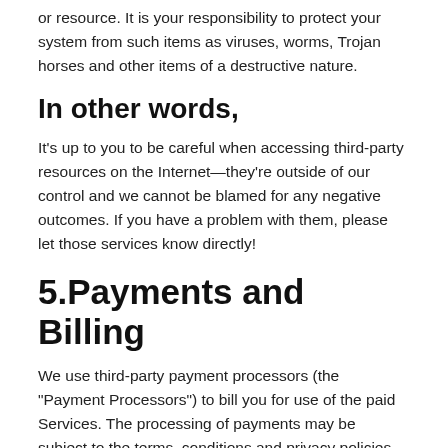or resource. It is your responsibility to protect your system from such items as viruses, worms, Trojan horses and other items of a destructive nature.
In other words,
It's up to you to be careful when accessing third-party resources on the Internet—they're outside of our control and we cannot be blamed for any negative outcomes. If you have a problem with them, please let those services know directly!
5.Payments and Billing
We use third-party payment processors (the "Payment Processors") to bill you for use of the paid Services. The processing of payments may be subject to the terms, conditions and privacy policies of the Payment Processors in addition to this Agreement. We are not responsible for error by the Payment Processors. By choosing to use paid Services, you agree to pay us, through the Payment Processors, all charges at the prices then in effect for any